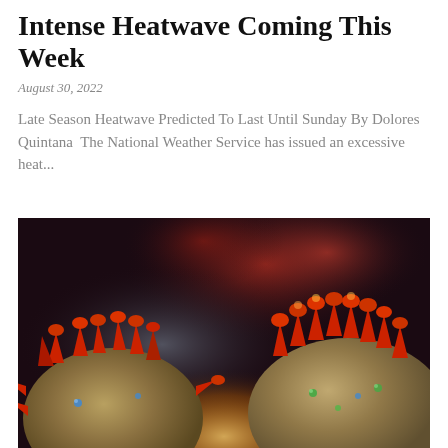Intense Heatwave Coming This Week
August 30, 2022
Late Season Heatwave Predicted To Last Until Sunday By Dolores Quintana  The National Weather Service has issued an excessive heat...
[Figure (photo): Close-up macro photograph of coronavirus (COVID-19) virus particles with red spiky protrusions against a dark blurred background with red bokeh lights]